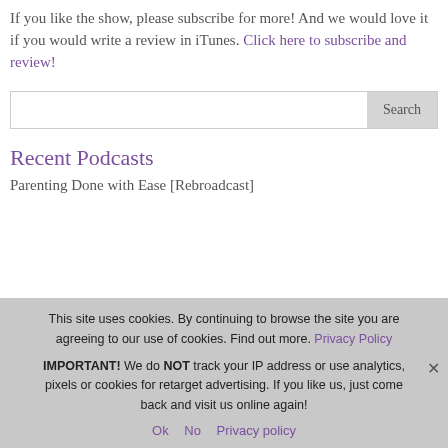If you like the show, please subscribe for more! And we would love it if you would write a review in iTunes. Click here to subscribe and review!
Search
Recent Podcasts
Parenting Done with Ease [Rebroadcast]
This site uses cookies. By continuing to browse the site you are agreeing to our use of cookies. Find out more. Privacy Policy

IMPORTANT! We do NOT track your IP address or use analytics, pixels or cookies for retarget advertising. If you like us, just come back and visit us online again!
Ok   No   Privacy policy